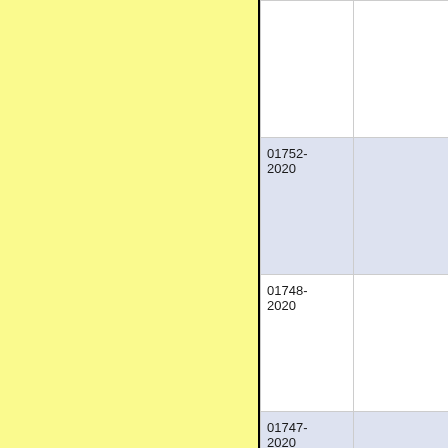| ID | Description |
| --- | --- |
|  |  |
| 01752-2020 |  |
| 01748-2020 |  |
| 01747-2020 |  |